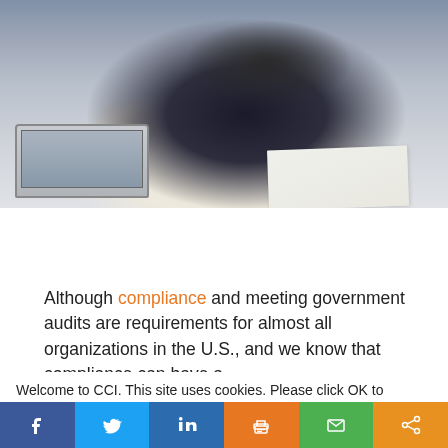[Figure (photo): Person in dark business attire seated at a desk with a laptop and papers, viewed from the chest down]
[Figure (infographic): Row of 5 social sharing icon circles: LinkedIn (blue), Twitter (light blue), Facebook (dark blue), Email (green), Print (orange)]
Although compliance and meeting government audits are requirements for almost all organizations in the U.S., and we know that compliance can have a
Welcome to CCI. This site uses cookies. Please click OK to accept. Privacy Policy
Cookie settings  ACCEPT
[Figure (infographic): Bottom social sharing bar with icons for Facebook, Twitter, LinkedIn, Print, Email, and Share]